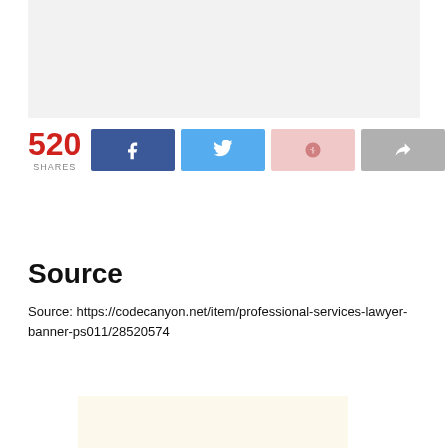[Figure (other): Light gray banner/advertisement placeholder at the top of the page]
520
SHARES
[Figure (infographic): Social share buttons: Facebook (dark blue with f icon), Twitter (light blue with bird icon), Google+ (light pink with G+ icon), Forward/share (gray with arrow icon)]
Source
Source: https://codecanyon.net/item/professional-services-lawyer-banner-ps011/28520574
[Figure (other): Light cream/beige banner/advertisement placeholder at the bottom of the page]